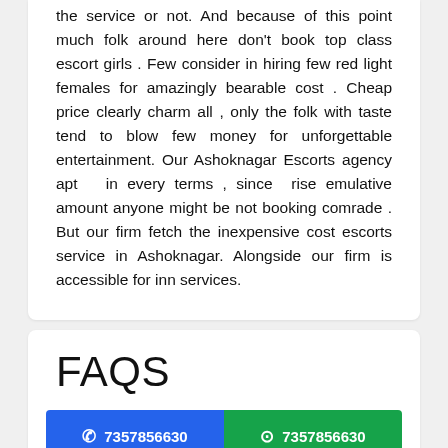the service or not. And because of this point much folk around here don't book top class escort girls . Few consider in hiring few red light females for amazingly bearable cost . Cheap price clearly charm all , only the folk with taste tend to blow few money for unforgettable entertainment. Our Ashoknagar Escorts agency apt  in every terms , since  rise emulative amount anyone might be not booking comrade . But our firm fetch the inexpensive cost escorts service in Ashoknagar. Alongside our firm is accessible for inn services.
FAQS
Ashoknagar